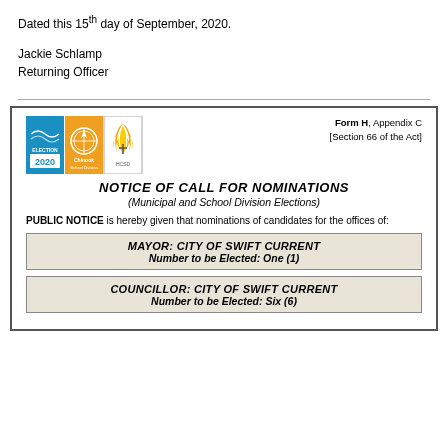Dated this 15th day of September, 2020.
Jackie Schlamp
Returning Officer
[Figure (logo): Election 2020 / Chinook School Division / HCSD logos combined]
Form H, Appendix C
[Section 66 of the Act]
NOTICE OF CALL FOR NOMINATIONS
(Municipal and School Division Elections)
PUBLIC NOTICE is hereby given that nominations of candidates for the offices of:
| MAYOR: CITY OF SWIFT CURRENT | Number to be Elected: One (1) |
| COUNCILLOR: CITY OF SWIFT CURRENT | Number to be Elected: Six (6) |